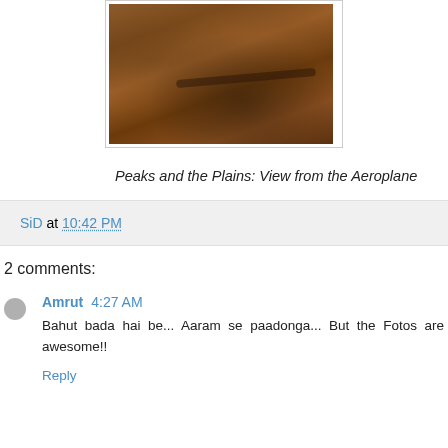[Figure (photo): Aerial photograph showing a dry landscape with river plains and terrain patterns viewed from an aeroplane]
Peaks and the Plains: View from the Aeroplane
SiD at 10:42 PM
2 comments:
Amrut 4:27 AM
Bahut bada hai be... Aaram se paadonga... But the Fotos are awesome!!
Reply